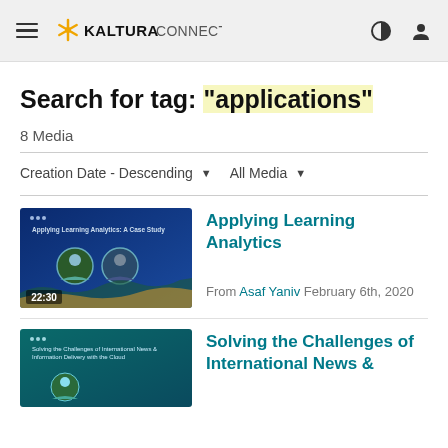Kaltura Connect
Search for tag: "applications"
8 Media
Creation Date - Descending   All Media
[Figure (screenshot): Video thumbnail for 'Applying Learning Analytics: A Case Study' showing two speakers with duration 22:30]
Applying Learning Analytics
From Asaf Yaniv February 6th, 2020
[Figure (screenshot): Video thumbnail for 'Solving the Challenges of International News & Information Delivery with the Cloud']
Solving the Challenges of International News &